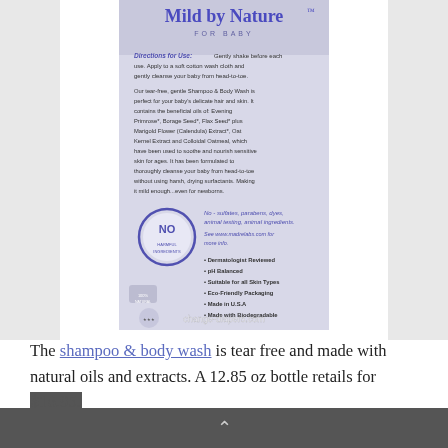[Figure (photo): Back label of Mild by Nature For Baby shampoo & body wash bottle showing directions for use, product description with natural oils and extracts, a 'NO' stamp circle badge, and bullet points. Watermark: change-diapers.com]
The shampoo & body wash is tear free and made with natural oils and extracts. A 12.85 oz bottle retails for $16.95.